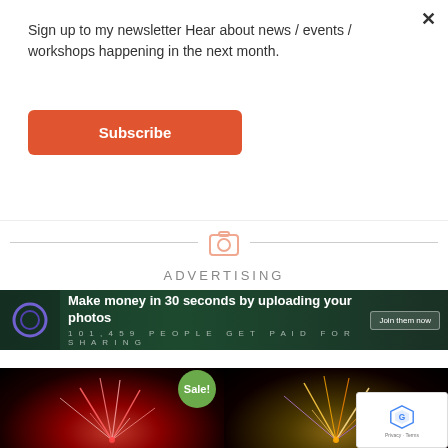Sign up to my newsletter Hear about news / events / workshops happening in the next month.
Subscribe
it is
[Figure (infographic): Camera icon with horizontal lines on each side acting as a section divider]
ADVERTISING
[Figure (screenshot): Advertisement banner: Make money in 30 seconds by uploading your photos. 101,459 PEOPLE GET PAID FOR SHARING. Join them now]
[Figure (photo): Two fireworks photos side by side. Left has a Sale! badge. Right has reCAPTCHA Privacy-Terms overlay.]